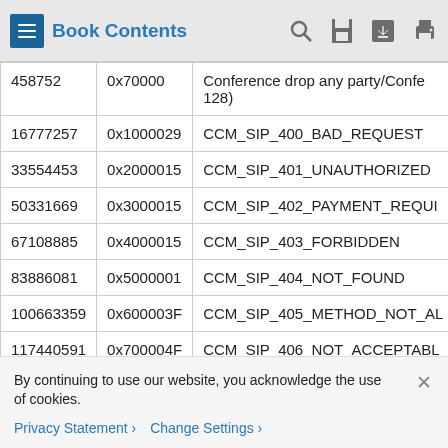Book Contents
| 458752 | 0x70000 | Conference drop any party/Confe 128) |
| 16777257 | 0x1000029 | CCM_SIP_400_BAD_REQUEST |
| 33554453 | 0x2000015 | CCM_SIP_401_UNAUTHORIZED |
| 50331669 | 0x3000015 | CCM_SIP_402_PAYMENT_REQUI |
| 67108885 | 0x4000015 | CCM_SIP_403_FORBIDDEN |
| 83886081 | 0x5000001 | CCM_SIP_404_NOT_FOUND |
| 100663359 | 0x600003F | CCM_SIP_405_METHOD_NOT_AL |
| 117440591 | 0x700004F | CCM_SIP_406_NOT_ACCEPTABL |
| 134217749 | 0x8000015 | CCM_SIP_407_PROXY_AUTHENT |
By continuing to use our website, you acknowledge the use of cookies.
Privacy Statement  Change Settings